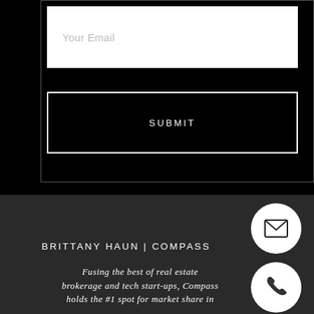[Figure (screenshot): Email input field with placeholder text 'Your Email' on a white background inside a dark bordered form box]
[Figure (screenshot): SUBMIT button with white border on black background]
BRITTANY HAUN | COMPASS
Fusing the best of real estate brokerage and tech start-ups, Compass holds the #1 spot for market share in